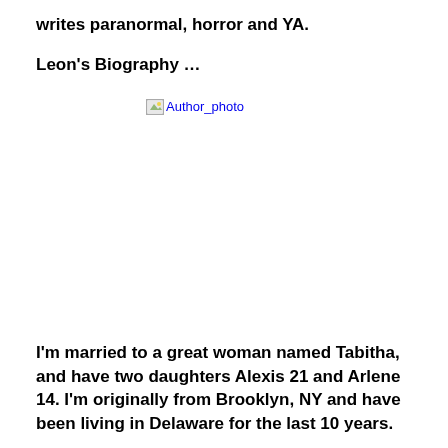writes paranormal, horror and YA.
Leon's Biography …
[Figure (photo): Broken image placeholder showing 'Author_photo' alt text with broken image icon]
I'm married to a great woman named Tabitha, and have two daughters Alexis 21 and Arlene 14. I'm originally from Brooklyn, NY and have been living in Delaware for the last 10 years.